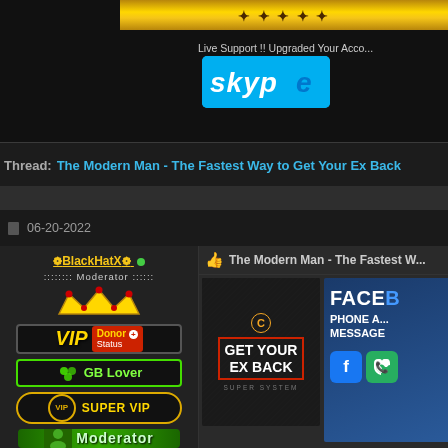[Figure (screenshot): Gold decorative banner at top of forum page]
Live Support !! Upgraded Your Acco...
[Figure (logo): Skype logo badge in blue]
Thread: The Modern Man - The Fastest Way to Get Your Ex Back
06-20-2022
❁BlackHatX❁ •
:::::::: Moderator ::::::
[Figure (logo): VIP Donor+ Status badge]
[Figure (logo): GB Lover badge (green)]
[Figure (logo): SUPER VIP badge (gold)]
[Figure (logo): Moderator badge (green)]
👍 The Modern Man - The Fastest W...
[Figure (photo): Product box 'Get Your Ex Back Super System' dark box with red border text, and second box 'FACE... PHONE A... MESSAGE' blue box with Facebook and phone icons]